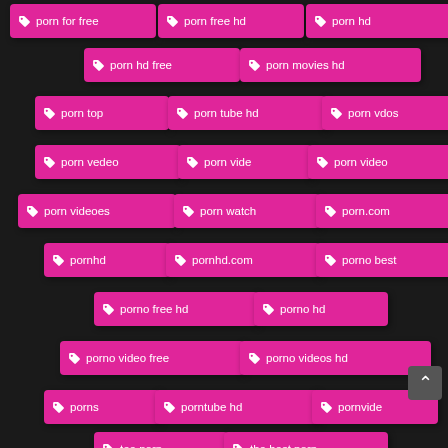🏷 porn for free
🏷 porn free hd
🏷 porn hd
🏷 porn hd free
🏷 porn movies hd
🏷 porn top
🏷 porn tube hd
🏷 porn vdos
🏷 porn vedeo
🏷 porn vide
🏷 porn video
🏷 porn videoes
🏷 porn watch
🏷 porn.com
🏷 pornhd
🏷 pornhd.com
🏷 porno best
🏷 porno free hd
🏷 porno hd
🏷 porno video free
🏷 porno videos hd
🏷 porns
🏷 porntube hd
🏷 pornvide
🏷 tee porn
🏷 the best porn